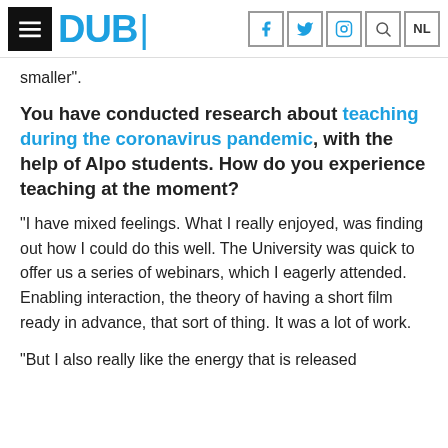DUB — navigation header with hamburger menu, DUB logo, social icons (f, Twitter, Instagram), search, NL
smaller".
You have conducted research about teaching during the coronavirus pandemic, with the help of Alpo students. How do you experience teaching at the moment?
"I have mixed feelings. What I really enjoyed, was finding out how I could do this well. The University was quick to offer us a series of webinars, which I eagerly attended. Enabling interaction, the theory of having a short film ready in advance, that sort of thing. It was a lot of work.
"But I also really like the energy that is released